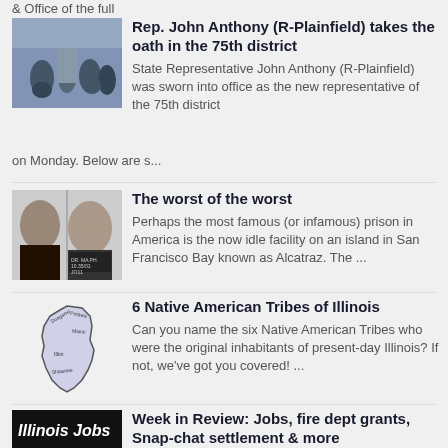& Office of the full
[Figure (photo): Group of people at an oath-taking ceremony outdoors]
Rep. John Anthony (R-Plainfield) takes the oath in the 75th district
State Representative John Anthony (R-Plainfield) was sworn into office as the new representative of the 75th district on Monday. Below are s...
[Figure (photo): Two men facing each other, one appears to be holding a sign with mugshot-style numbers]
The worst of the worst
Perhaps the most famous (or infamous) prison in America is the now idle facility on an island in San Francisco Bay known as Alcatraz. The ...
[Figure (illustration): Map of Illinois with Native American tribe labels including Illini, Miami, Shawnee, Potawatomi]
6 Native American Tribes of Illinois
Can you name the six Native American Tribes who were the original inhabitants of present-day Illinois? If not, we've got you covered! ...
[Figure (photo): Black background with white bold italic text: Illinois Jobs]
Week in Review: Jobs, fire dept grants, Snap-chat settlement & more
JOBS Illinois metro area unemployment